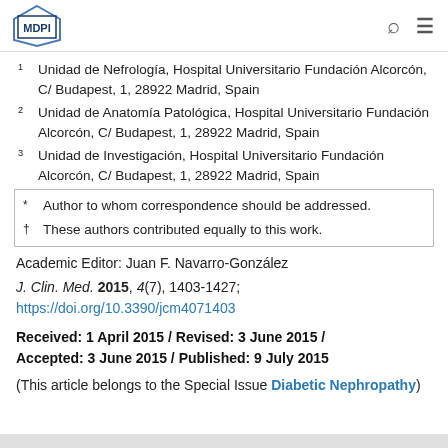MDPI
1 Unidad de Nefrología, Hospital Universitario Fundación Alcorcón, C/ Budapest, 1, 28922 Madrid, Spain
2 Unidad de Anatomía Patológica, Hospital Universitario Fundación Alcorcón, C/ Budapest, 1, 28922 Madrid, Spain
3 Unidad de Investigación, Hospital Universitario Fundación Alcorcón, C/ Budapest, 1, 28922 Madrid, Spain
* Author to whom correspondence should be addressed.
† These authors contributed equally to this work.
Academic Editor: Juan F. Navarro-González
J. Clin. Med. 2015, 4(7), 1403-1427; https://doi.org/10.3390/jcm4071403
Received: 1 April 2015 / Revised: 3 June 2015 / Accepted: 3 June 2015 / Published: 9 July 2015
(This article belongs to the Special Issue Diabetic Nephropathy)